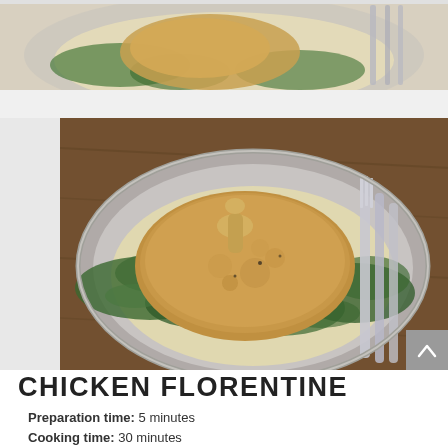[Figure (photo): Top cropped photo strip showing a chicken dish in cream sauce with spinach in a gray bowl, with a fork visible on the right side]
[Figure (photo): Main photo of Chicken Florentine: a golden-brown chicken leg/thigh piece served in a gray bowl over creamy spinach sauce, with a fork resting in the bowl, on a wooden table background]
CHICKEN FLORENTINE
Preparation time: 5 minutes
Cooking time: 30 minutes
□ Servings: 1